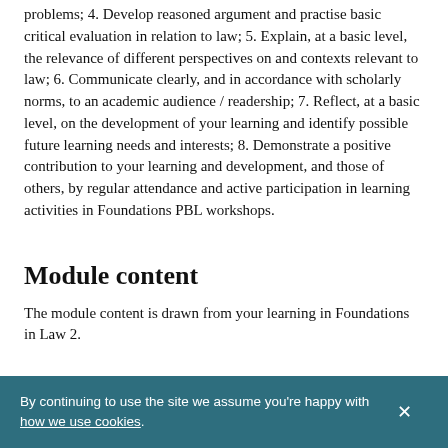problems; 4. Develop reasoned argument and practise basic critical evaluation in relation to law; 5. Explain, at a basic level, the relevance of different perspectives on and contexts relevant to law; 6. Communicate clearly, and in accordance with scholarly norms, to an academic audience / readership; 7. Reflect, at a basic level, on the development of your learning and identify possible future learning needs and interests; 8. Demonstrate a positive contribution to your learning and development, and those of others, by regular attendance and active participation in learning activities in Foundations PBL workshops.
Module content
The module content is drawn from your learning in Foundations in Law 2.
By continuing to use the site we assume you're happy with how we use cookies.